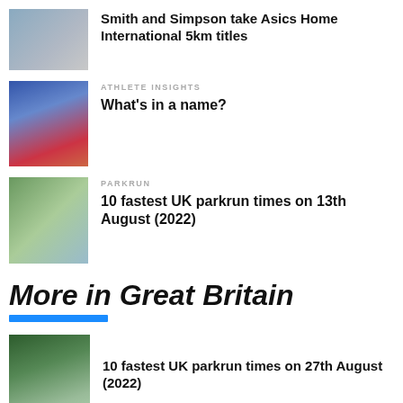[Figure (photo): Runners at a race start]
Smith and Simpson take Asics Home International 5km titles
[Figure (photo): Female athlete celebrating with Scottish flag]
ATHLETE INSIGHTS
What's in a name?
[Figure (photo): Parkrun participants running on grass]
PARKRUN
10 fastest UK parkrun times on 13th August (2022)
More in Great Britain
[Figure (photo): Park with lake and trees]
10 fastest UK parkrun times on 27th August (2022)